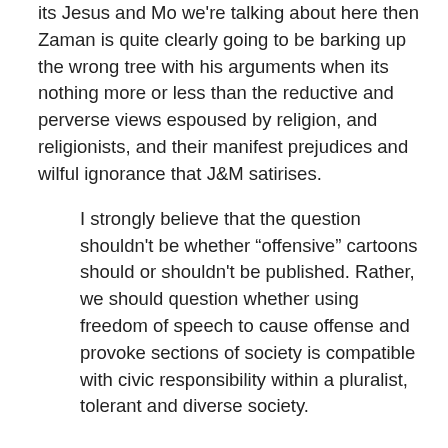its Jesus and Mo we're talking about here then Zaman is quite clearly going to be barking up the wrong tree with his arguments when its nothing more or less than the reductive and perverse views espoused by religion, and religionists, and their manifest prejudices and wilful ignorance that J&M satirises.
I strongly believe that the question shouldn't be whether “offensive” cartoons should or shouldn't be published. Rather, we should question whether using freedom of speech to cause offense and provoke sections of society is compatible with civic responsibility within a pluralist, tolerant and diverse society.
Fuck me, this is really going to be hard work.
Frankly, I’m tired of endlessly repeating the same arguments in response to people who simply do not, or will not, listen and so, on tis occasion, I’ve decided to place the argument into the hands of a couple of English authors